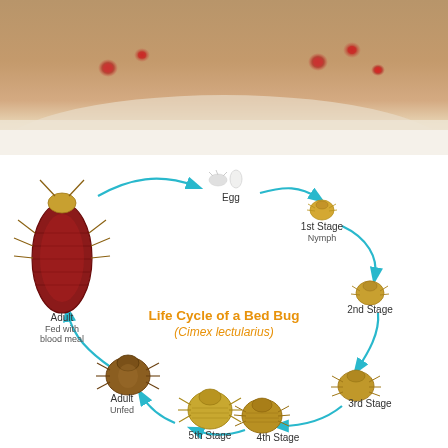[Figure (photo): Close-up photo of a human arm showing multiple red bed bug bite marks on the skin]
[Figure (infographic): Life Cycle of a Bed Bug (Cimex lectularius) showing circular lifecycle from Egg to 1st Stage Nymph, 2nd Stage, 3rd Stage, 4th Stage, 5th Stage, Adult Unfed, Adult Fed with blood meal, with cyan arrows connecting each stage in a cycle]